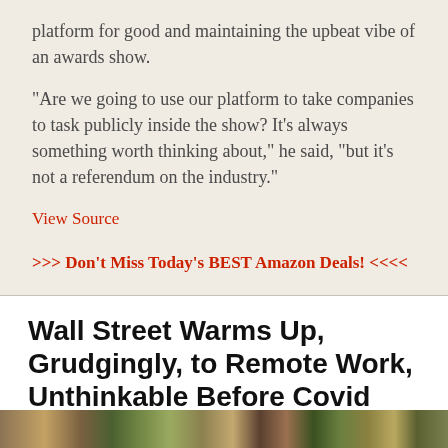platform for good and maintaining the upbeat vibe of an awards show.
"Are we going to use our platform to take companies to task publicly inside the show? It's always something worth thinking about," he said, "but it's not a referendum on the industry."
View Source
>>> Don't Miss Today's BEST Amazon Deals! <<<<
Wall Street Warms Up, Grudgingly, to Remote Work, Unthinkable Before Covid
[Figure (photo): Photo strip at bottom of page showing outdoor/nature scene]